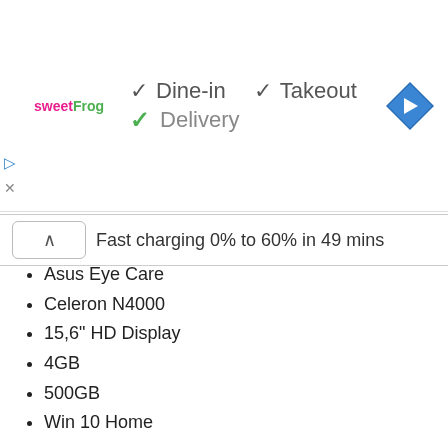[Figure (screenshot): Advertisement banner showing sweetFrog logo with checkmarks for Dine-in, Takeout, and Delivery, plus a navigation arrow icon]
Fast charging 0% to 60% in 49 mins
Asus Eye Care
Celeron N4000
15,6" HD Display
4GB
500GB
Win 10 Home
Asus ZenBook UX461FN (AS-ZEN-i7W1OGR) (AS-ZEN-i7W1OG) for Rs. 228,779/-
9mm Thin
4kg Light
12hrs Battery Life
Fast Charging
[Figure (infographic): Social media icons: RSS (orange), Follow (grey), Facebook (blue), Twitter (light blue)]